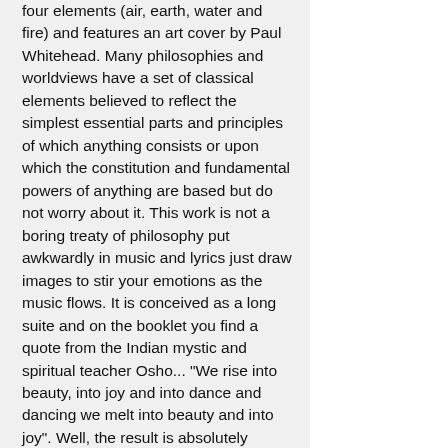four elements (air, earth, water and fire) and features an art cover by Paul Whitehead. Many philosophies and worldviews have a set of classical elements believed to reflect the simplest essential parts and principles of which anything consists or upon which the constitution and fundamental powers of anything are based but do not worry about it. This work is not a boring treaty of philosophy put awkwardly in music and lyrics just draw images to stir your emotions as the music flows. It is conceived as a long suite and on the booklet you find a quote from the Indian mystic and spiritual teacher Osho... "We rise into beauty, into joy and into dance and dancing we melt into beauty and into joy". Well, the result is absolutely convincing, "Elementi" is rich in ideas and full of perfectly balanced vintage atmospheres and up to date sounds.
The opener "Danza del vento (prima parte)" (Wind dance ? first part) begins softly, then Michele Bon's guitar